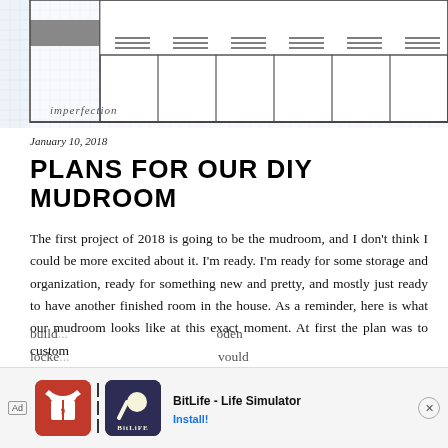[Figure (illustration): Drawing/sketch of lockers arranged side by side on graph paper background with 'imperfection' written in cursive at the bottom left]
January 10, 2018
PLANS FOR OUR DIY MUDROOM
The first project of 2018 is going to be the mudroom, and I don't think I could be more excited about it. I'm ready. I'm ready for some storage and organization, ready for something new and pretty, and mostly just ready to have another finished room in the house. As a reminder, here is what our mudroom looks like at this exact moment. At first the plan was to custom build... wooden locke... ...would
[Figure (screenshot): Advertisement banner for BitLife - Life Simulator game with Ad label, game icons, app name, and Install button with close X button]